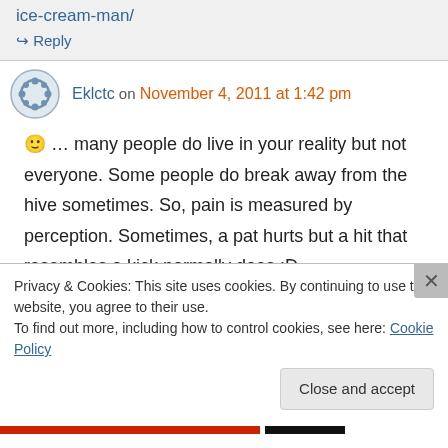ice-cream-man/
↳ Reply
Eklctc on November 4, 2011 at 1:42 pm
🙂 … many people do live in your reality but not everyone. Some people do break away from the hive sometimes. So, pain is measured by perception. Sometimes, a pat hurts but a hit that resembles a kick normally does.:D
Privacy & Cookies: This site uses cookies. By continuing to use this website, you agree to their use. To find out more, including how to control cookies, see here: Cookie Policy
Close and accept